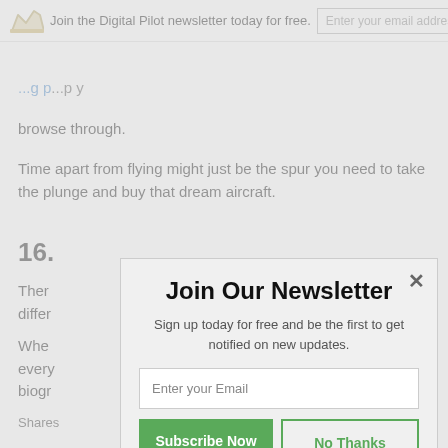Join the Digital Pilot newsletter today for free. [email input] Subscribe Now [x]
browse through.
Time apart from flying might just be the spur you need to take the plunge and buy that dream aircraft.
16.
There differ
Whe every biogr
Shares
[Figure (infographic): Newsletter signup modal popup with title 'Join Our Newsletter', subtitle 'Sign up today for free and be the first to get notified on new updates.', email input field, Subscribe Now button (green), and No Thanks button (green outline).]